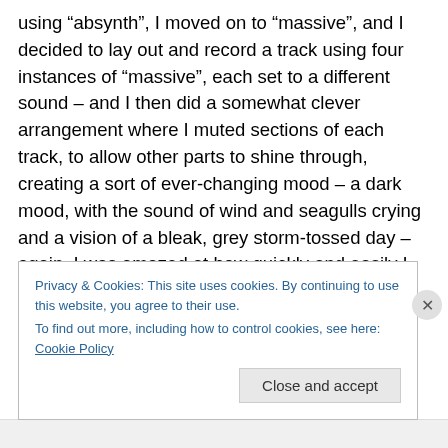using “absynth”, I moved on to “massive”, and I decided to lay out and record a track using four instances of “massive”, each set to a different sound – and I then did a somewhat clever arrangement where I muted sections of each track, to allow other parts to shine through, creating a sort of ever-changing mood – a dark mood, with the sound of wind and seagulls crying and a vision of a bleak, grey storm-tossed day – again, I was amazed at how quickly and easily I could set up four instances in my host (my somewhat antiquated SONAR 8.5) and it coped beautifully – no problem.
Privacy & Cookies: This site uses cookies. By continuing to use this website, you agree to their use.
To find out more, including how to control cookies, see here: Cookie Policy